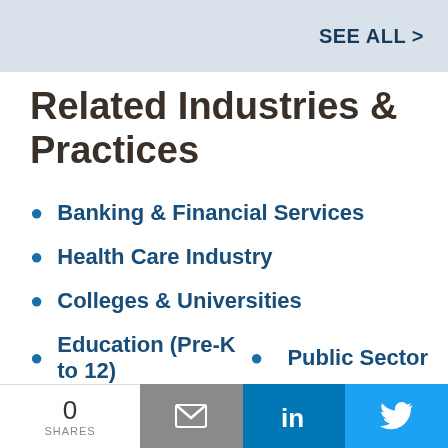SEE ALL >
Related Industries & Practices
Banking & Financial Services
Health Care Industry
Colleges & Universities
Education (Pre-K to 12)
Public Sector
0 SHARES